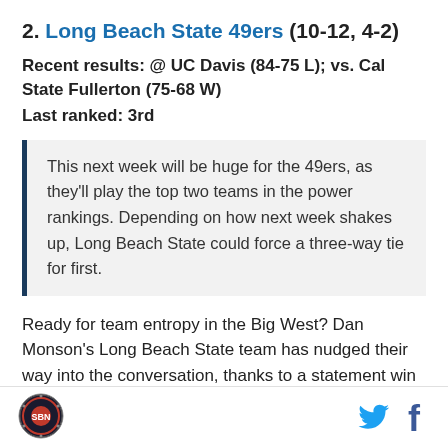2. Long Beach State 49ers (10-12, 4-2)
Recent results: @ UC Davis (84-75 L); vs. Cal State Fullerton (75-68 W)
Last ranked: 3rd
This next week will be huge for the 49ers, as they'll play the top two teams in the power rankings. Depending on how next week shakes up, Long Beach State could force a three-way tie for first.
Ready for team entropy in the Big West? Dan Monson's Long Beach State team has nudged their way into the conversation, thanks to a statement win over crosstown-rivals Cal State Fullerton.
[Figure (logo): SB Nation logo (circular emblem) in footer]
[Figure (logo): Twitter bird icon in footer]
[Figure (logo): Facebook f icon in footer]